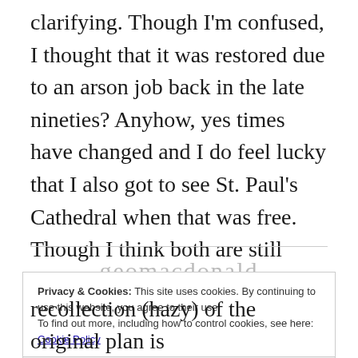clarifying. Though I'm confused, I thought that it was restored due to an arson job back in the late nineties? Anyhow, yes times have changed and I do feel lucky that I also got to see St. Paul's Cathedral when that was free. Though I think both are still worth the ticket price.
geomacdonald
Privacy & Cookies: This site uses cookies. By continuing to use this website, you agree to their use.
To find out more, including how to control cookies, see here: Cookie Policy
Close and accept
recollection (hazy) of the original plan is